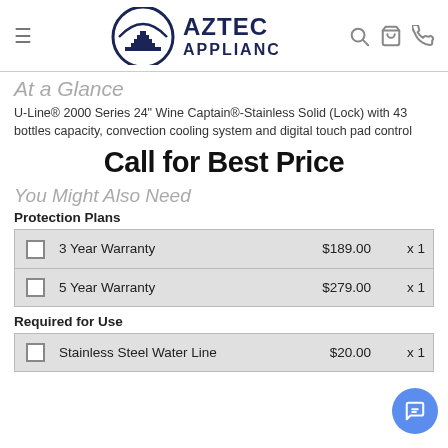[Figure (logo): Aztec Appliance logo with pyramid/arch graphic and bold text]
At a Glance
U-Line® 2000 Series 24" Wine Captain®-Stainless Solid (Lock) with 43 bottles capacity, convection cooling system and digital touch pad control
Call for Best Price
You Might Also Need
Protection Plans
|  | Item | Price | Qty |
| --- | --- | --- | --- |
| ☐ | 3 Year Warranty | $189.00 | x 1 |
| ☐ | 5 Year Warranty | $279.00 | x 1 |
Required for Use
|  | Item | Price | Qty |
| --- | --- | --- | --- |
| ☐ | Stainless Steel Water Line | $20.00 | x 1 |